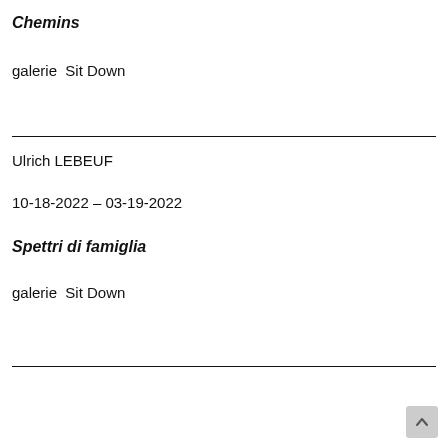Chemins
galerie  Sit Down
Ulrich LEBEUF
10-18-2022 – 03-19-2022
Spettri di famiglia
galerie  Sit Down